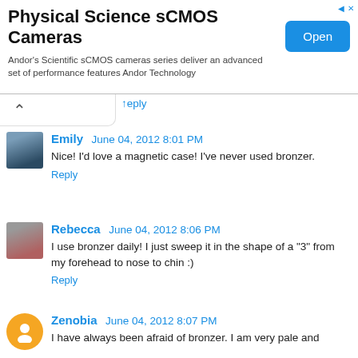[Figure (screenshot): Advertisement banner for Physical Science sCMOS Cameras by Andor Technology with an Open button]
↑ Reply (partially visible at top)
Emily  June 04, 2012 8:01 PM
Nice! I'd love a magnetic case! I've never used bronzer.
Reply
Rebecca  June 04, 2012 8:06 PM
I use bronzer daily! I just sweep it in the shape of a "3" from my forehead to nose to chin :)
Reply
Zenobia  June 04, 2012 8:07 PM
I have always been afraid of bronzer. I am very pale and (text cut off)